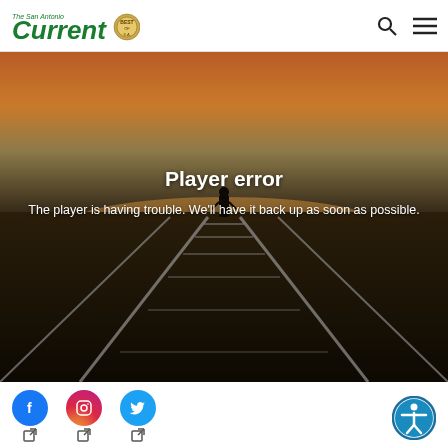The San Antonio Current
[Figure (screenshot): Video player error screen showing a dark road/railroad track at sunset with a silhouetted figure. Overlay text reads 'Player error' and 'The player is having trouble. We'll have it back up as soon as possible.']
Player error
The player is having trouble. We'll have it back up as soon as possible.
[Figure (other): Social media icons: Facebook, Instagram, Twitter with external link arrows, and an accessibility button on the right]